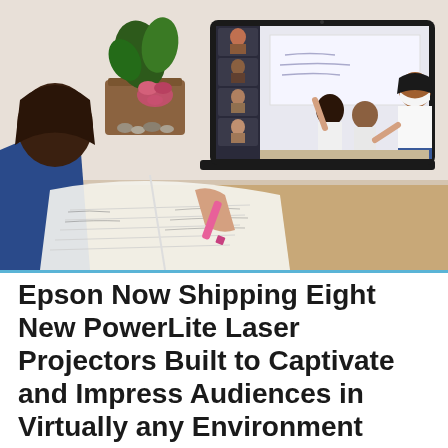[Figure (photo): A student viewed from behind, writing in a notebook, looking at a laptop screen showing a video call with a masked teacher standing at a whiteboard in a classroom with students raising hands. A plant is visible in the background.]
Epson Now Shipping Eight New PowerLite Laser Projectors Built to Captivate and Impress Audiences in Virtually any Environment
eSchool News